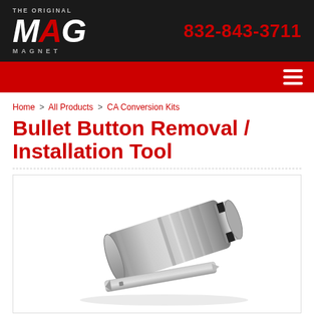THE ORIGINAL MAG MAGNET | 832-843-3711
Home > All Products > CA Conversion Kits
Bullet Button Removal / Installation Tool
[Figure (photo): A metal bullet button removal/installation tool, cylindrical shape with notched end, shown at an angle with a separate pin/key piece below it.]